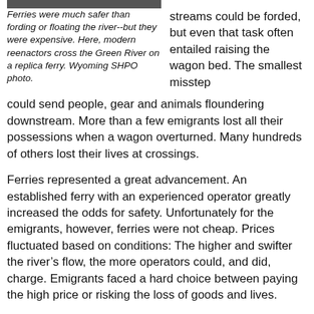[Figure (photo): Top portion of a photo showing reenactors crossing a river on a replica ferry (partially visible at top of page)]
Ferries were much safer than fording or floating the river--but they were expensive. Here, modern reenactors cross the Green River on a replica ferry. Wyoming SHPO photo.
streams could be forded, but even that task often entailed raising the wagon bed. The smallest misstep could send people, gear and animals floundering downstream. More than a few emigrants lost all their possessions when a wagon overturned. Many hundreds of others lost their lives at crossings.
Ferries represented a great advancement. An established ferry with an experienced operator greatly increased the odds for safety. Unfortunately for the emigrants, however, ferries were not cheap. Prices fluctuated based on conditions: The higher and swifter the river’s flow, the more operators could, and did, charge. Emigrants faced a hard choice between paying the high price or risking the loss of goods and lives.
The most popular place to cross the Green for those on the main branch of the westward emigrant trails was the so-called Lombard Ferry, established by mountain men in 1843.
In 1847, the first Mormons made their way over the trails to the Salt